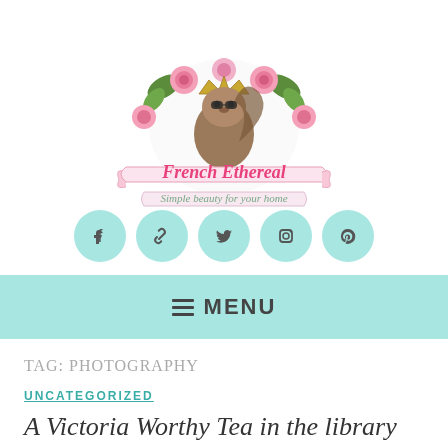[Figure (logo): French Ethereal blog logo featuring a squirrel with a crown surrounded by pink roses and flowers, with a pink ribbon banner reading 'French Ethereal' and subtitle 'Simple beauty for your home']
[Figure (infographic): Row of five teal/aqua circular social media icon buttons: Facebook, chain link, Twitter, Instagram, Pinterest]
☰ MENU
TAG: PHOTOGRAPHY
UNCATEGORIZED
A Victoria Worthy Tea in the library